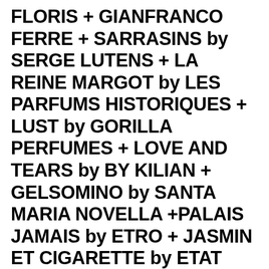FLORIS + GIANFRANCO FERRE + SARRASINS by SERGE LUTENS + LA REINE MARGOT by LES PARFUMS HISTORIQUES + LUST by GORILLA PERFUMES + LOVE AND TEARS by BY KILIAN + GELSOMINO by SANTA MARIA NOVELLA +PALAIS JAMAIS by ETRO + JASMIN ET CIGARETTE by ETAT LIBRE D'ORANGE + CAROLINA HERRERA + LE JASMIN by